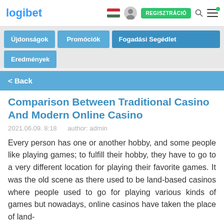logibet — REGISZTRÁCIÓ
Újdonságok | Promóciók | Fogadási Segédlet | Eredmények
< Back
Comparison Between Traditional Casino And Modern Online Casino
2021.06.09. 8:18    author: admin
Every person has one or another hobby, and some people like playing games; to fulfill their hobby, they have to go to a very different location for playing their favorite games. It was the old scene as there used to be land-based casinos where people used to go for playing various kinds of games but nowadays, online casinos have taken the place of land-